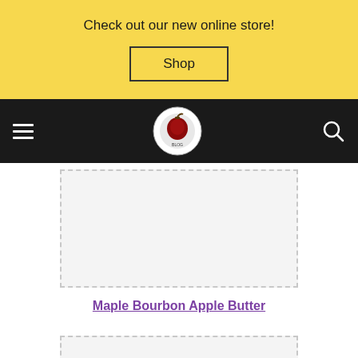Check out our new online store!
Shop
[Figure (logo): Navigation bar with hamburger menu icon, circular logo/emblem, and search icon on dark background]
[Figure (photo): Dashed border image placeholder (light gray background)]
Maple Bourbon Apple Butter
[Figure (photo): Second dashed border image placeholder (light gray background), partially visible at bottom]